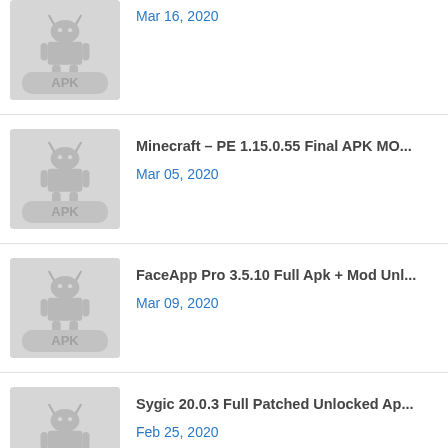Mar 16, 2020
Minecraft – PE 1.15.0.55 Final APK MO... Mar 05, 2020
FaceApp Pro 3.5.10 Full Apk + Mod Unl... Mar 09, 2020
Sygic 20.0.3 Full Patched Unlocked Ap... Feb 25, 2020